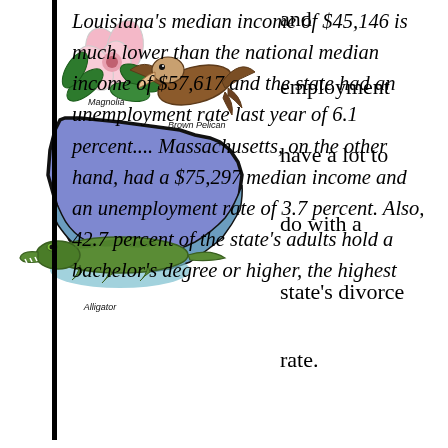[Figure (illustration): Illustrated map of Louisiana showing state outline in purple with cartoon animals and plants: a Magnolia flower, a Brown Pelican bird, and an Alligator, with labels for each.]
and employment have a lot to do with a state's divorce rate.
Louisiana's median income of $45,146 is much lower than the national median income of $57,617 and the state had an unemployment rate last year of 6.1 percent.... Massachusetts, on the other hand, had a $75,297 median income and an unemployment rate of 3.7 percent. Also, 42.7 percent of the state's adults hold a bachelor's degree or higher, the highest